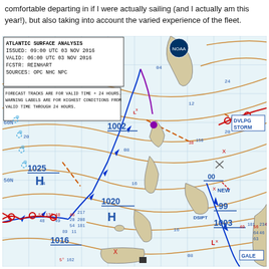comfortable departing in if I were actually sailing (and I actually am this year!), but also taking into account the varied experience of the fleet.
[Figure (map): Atlantic Surface Analysis weather map issued 09:00 UTC 03 Nov 2016, valid 06:00 UTC 03 Nov 2016, FCSTR: REINHART, SOURCES: OPC NHC NPC. Shows isobars, high/low pressure systems (H 1025, H 1020, L 1002, L 1003, L 1016, 99), fronts (cold, warm, occluded), storm tracks, and weather buoy data across the North Atlantic including DVLPG STORM, DSIPT, GALE labels.]